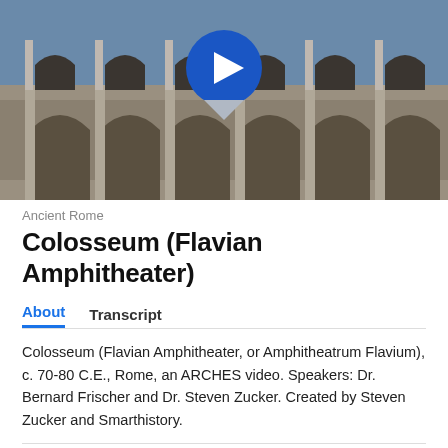[Figure (photo): Photo of the Colosseum (Flavian Amphitheater) in Rome showing arched stone architecture, with a blue circular play button overlay at the top center.]
Ancient Rome
Colosseum (Flavian Amphitheater)
About   Transcript
Colosseum (Flavian Amphitheater, or Amphitheatrum Flavium), c. 70-80 C.E., Rome, an ARCHES video. Speakers: Dr. Bernard Frischer and Dr. Steven Zucker. Created by Steven Zucker and Smarthistory.
Google Classroom   Facebook   (email icon)
Twitter   Email